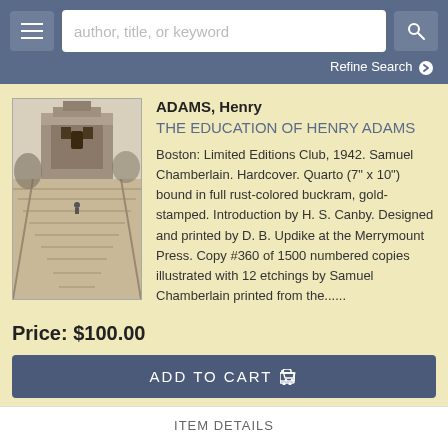[Figure (screenshot): Navigation bar with hamburger menu, search field placeholder 'author, title, or keyword', and search button]
Refine Search
[Figure (photo): Black and white photograph of a stone building with wide staircase leading up to it, a small figure visible on the steps]
ADAMS, Henry
THE EDUCATION OF HENRY ADAMS
Boston: Limited Editions Club, 1942. Samuel Chamberlain. Hardcover. Quarto (7" x 10") bound in full rust-colored buckram, gold-stamped. Introduction by H. S. Canby. Designed and printed by D. B. Updike at the Merrymount Press. Copy #360 of 1500 numbered copies illustrated with 12 etchings by Samuel Chamberlain printed from the......
Price: $100.00
ADD TO CART
ITEM DETAILS